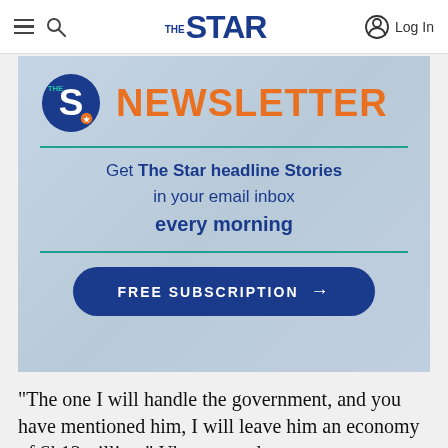☰ 🔍 THE STAR Log In
[Figure (infographic): The Star Newsletter banner ad with circular S logo, orange NEWSLETTER heading, teal divider lines, navy body text reading 'Get The Star headline Stories in your email inbox every morning', and a FREE SUBSCRIPTION button with arrow]
"The one I will handle the government, and you have mentioned him, I will leave him an economy of Sh13 trillion," Uhuru stated.